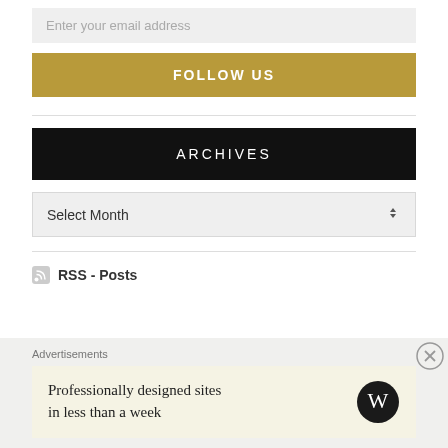Enter your email address
FOLLOW US
ARCHIVES
Select Month
RSS - Posts
Advertisements
Professionally designed sites in less than a week